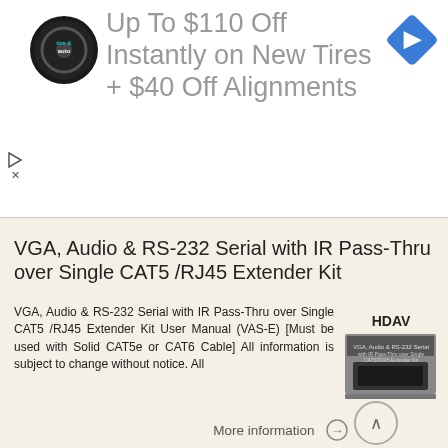[Figure (infographic): Ad banner: tire and auto logo circle, large text 'Up To $110 Off Instantly on New Tires + $40 Off Alignments', blue diamond navigation icon]
RIX SWITCHES EXTENDERS SPLITTERS WIRELESS CABLES & ACCESSORIES VGA / Audio Extender Single CAT5 / CAT6 with RGB Delay Control
More information →
VGA, Audio & RS-232 Serial with IR Pass-Thru over Single CAT5 /RJ45 Extender Kit
VGA, Audio & RS-232 Serial with IR Pass-Thru over Single CAT5 /RJ45 Extender Kit User Manual (VAS-E) [Must be used with Solid CAT5e or CAT6 Cable] All information is subject to change without notice. All
More information →